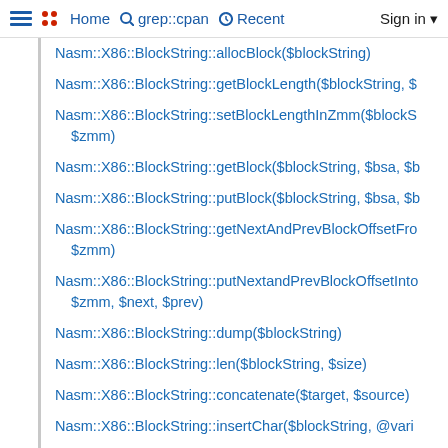Home  grep::cpan  Recent  Sign in
Nasm::X86::BlockString::allocBlock($blockString)
Nasm::X86::BlockString::getBlockLength($blockString, $
Nasm::X86::BlockString::setBlockLengthInZmm($blockS $zmm)
Nasm::X86::BlockString::getBlock($blockString, $bsa, $b
Nasm::X86::BlockString::putBlock($blockString, $bsa, $b
Nasm::X86::BlockString::getNextAndPrevBlockOffsetFro $zmm)
Nasm::X86::BlockString::putNextandPrevBlockOffsetInto $zmm, $next, $prev)
Nasm::X86::BlockString::dump($blockString)
Nasm::X86::BlockString::len($blockString, $size)
Nasm::X86::BlockString::concatenate($target, $source)
Nasm::X86::BlockString::insertChar($blockString, @vari
Nasm::X86::BlockString::deleteChar($blockString, @vari
Nasm::X86::BlockString::getCharacter($blockString, @v
Nasm::X86::BlockString::append($blockString, @variable